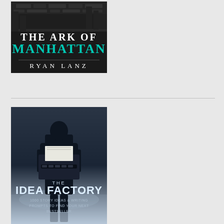[Figure (illustration): Book cover for 'The Ark of Manhattan' by Ryan Lanz. Dark background with cityscape/brick texture at top. Title text: 'THE ARK OF' in white serif font, 'MANHATTAN' in teal/cyan color. Author name 'RYAN LANZ' in white spaced serif font at bottom.]
[Figure (illustration): Book cover for 'The Idea Factory: 1000 Story Ideas & Writing Prompts to Find Your Next Bestseller'. Dark moody blue image of a silhouetted figure holding a typewriter. Title: 'THE IDEA FACTORY' in large bold type, subtitle '1000 STORY IDEAS & WRITING PROMPTS TO FIND YOUR NEXT BESTSELLER' in smaller font.]